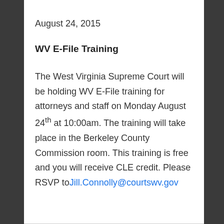August 24, 2015
WV E-File Training
The West Virginia Supreme Court will be holding WV E-File training for attorneys and staff on Monday August 24th at 10:00am. The training will take place in the Berkeley County Commission room. This training is free and you will receive CLE credit. Please RSVP to Jill.Connolly@courtswv.gov